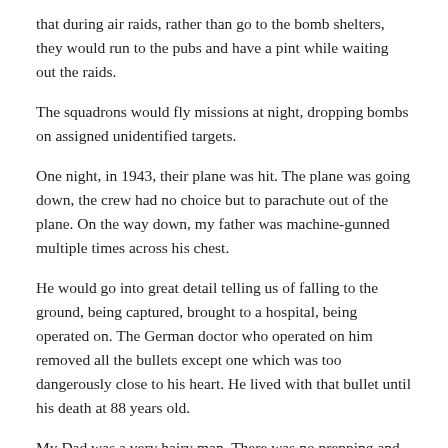that during air raids, rather than go to the bomb shelters, they would run to the pubs and have a pint while waiting out the raids.
The squadrons would fly missions at night, dropping bombs on assigned unidentified targets.
One night, in 1943, their plane was hit. The plane was going down, the crew had no choice but to parachute out of the plane. On the way down, my father was machine-gunned multiple times across his chest.
He would go into great detail telling us of falling to the ground, being captured, brought to a hospital, being operated on. The German doctor who operated on him removed all the bullets except one which was too dangerously close to his heart. He lived with that bullet until his death at 88 years old.
My Dad was a very hairy man. There was no prepping and shaving chests prior to the surgery of a war prisoner. His description of the nurse removing his bandages along with all